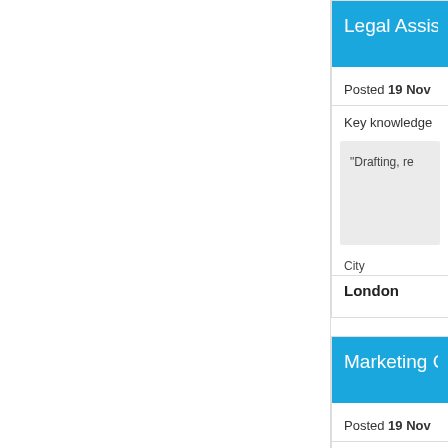Legal Assis...
Posted 19 Nov
Key knowledge
"Drafting, re...
City
London
Marketing C...
Posted 19 Nov
Key knowledge